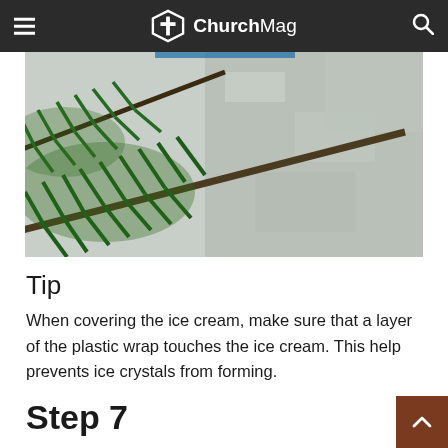ChurchMag
[Figure (photo): Close-up photo of pine/fir tree branches with green needles against a marble or snowy grey stone background]
Tip
When covering the ice cream, make sure that a layer of the plastic wrap touches the ice cream. This help prevents ice crystals from forming.
Step 7